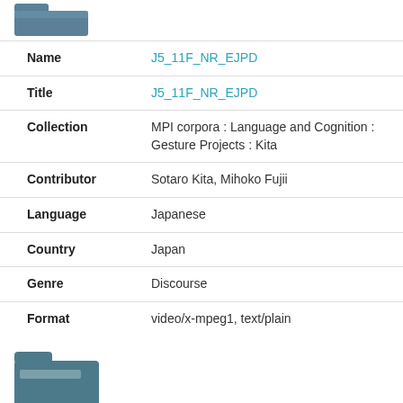[Figure (illustration): Folder icon (teal/grey-blue folder, partially open) at top of first record]
| Field | Value |
| --- | --- |
| Name | J5_11F_NR_EJPD |
| Title | J5_11F_NR_EJPD |
| Collection | MPI corpora : Language and Cognition : Gesture Projects : Kita |
| Contributor | Sotaro Kita, Mihoko Fujii |
| Language | Japanese |
| Country | Japan |
| Genre | Discourse |
| Format | video/x-mpeg1, text/plain |
[Figure (illustration): Folder icon (teal/grey-blue folder, partially open) at top of second record]
| Field | Value |
| --- | --- |
| Name | J9_2B_AO_EJPA |
| Title | J9_2B_AO_EJPA |